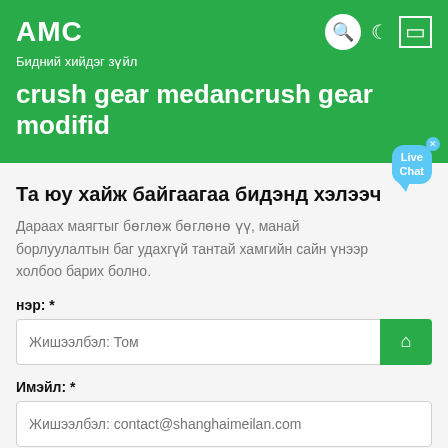АМС
Бидний хийдэг зүйл
crush gear medancrush gear modifid
Та юу хайж байгаагаа бидэнд хэлээч
Дараах маягтыг бөглөж бөглөнө үү, манай борлуулалтын баг удахгүй тантай хамгийн сайн үнээр холбоо барих болно.
нэр: *
Жишээлбэл: Том
Имэйл: *
Жишээлбэл: contact@shanghaimeilan.com